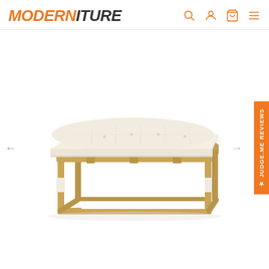MODERNITURE — navigation header with search, account, cart, and menu icons
[Figure (photo): A modern upholstered bench/ottoman with a cream/ivory tufted fabric seat cushion and a brushed gold/brass rectangular metal frame base. The bench has a contemporary geometric design. Left and right navigation arrows are visible on the sides. A Judge.me Reviews orange tab is on the right edge.]